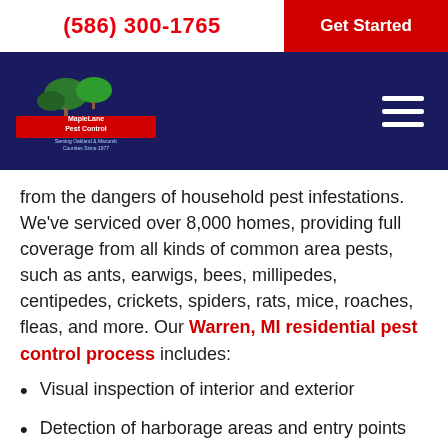(586) 300-1765  |  Get Started
[Figure (logo): Maple Lane Pest Control logo on dark navy background with hamburger menu icon]
from the dangers of household pest infestations. We've serviced over 8,000 homes, providing full coverage from all kinds of common area pests, such as ants, earwigs, bees, millipedes, centipedes, crickets, spiders, rats, mice, roaches, fleas, and more. Our Warren, MI residential pest control process includes:
Visual inspection of interior and exterior
Detection of harborage areas and entry points
Provided written report of findings and proposed actions